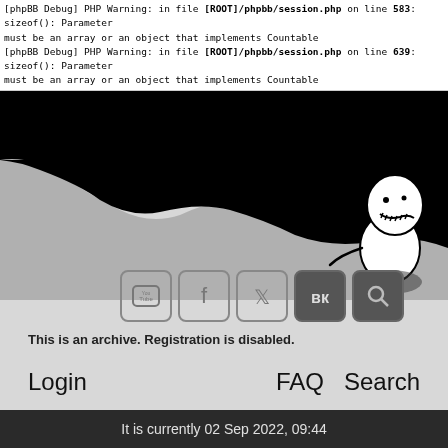[phpBB Debug] PHP Warning: in file [ROOT]/phpbb/session.php on line 583: sizeof(): Parameter must be an array or an object that implements Countable
[phpBB Debug] PHP Warning: in file [ROOT]/phpbb/session.php on line 639: sizeof(): Parameter must be an array or an object that implements Countable
[Figure (screenshot): Dark phpBB forum header with site title 'ice-pick.lu' in monospace white letters, landscape silhouette graphic with a stitched voodoo doll mascot character on the right, social media icon buttons (YouTube, Facebook, Twitter, VK, Search)]
This is an archive. Registration is disabled.
Login      FAQ   Search
It is currently 02 Sep 2022, 09:44